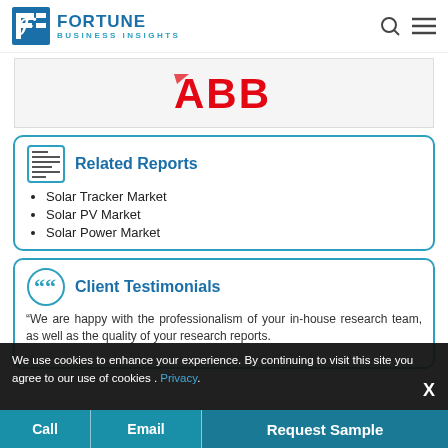Fortune Business Insights
[Figure (logo): ABB company logo in red]
Related Reports
Solar Tracker Market
Solar PV Market
Solar Power Market
Client Testimonials
“We are happy with the professionalism of your in-house research team, as well as the quality of your research reports.
...LEADING COMPANIES IN GERMANY
We use cookies to enhance your experience. By continuing to visit this site you agree to our use of cookies . Privacy.
Call | Email | Request Sample